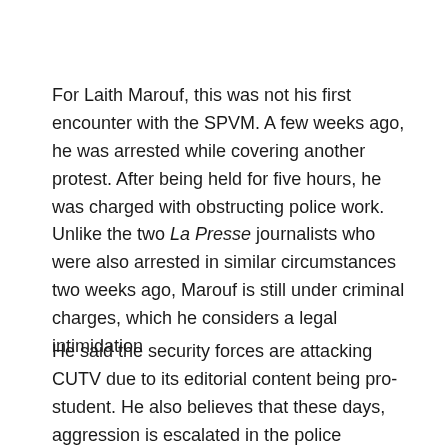For Laith Marouf, this was not his first encounter with the SPVM. A few weeks ago, he was arrested while covering another protest. After being held for five hours, he was charged with obstructing police work. Unlike the two La Presse journalists who were also arrested in similar circumstances two weeks ago, Marouf is still under criminal charges, which he considers a legal intimidation
He said the security forces are attacking CUTV due to its editorial content being pro-student. He also believes that these days, aggression is escalated in the police